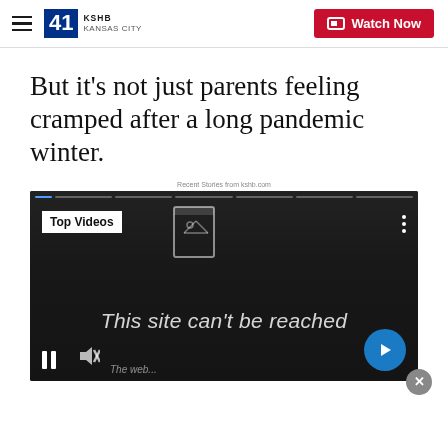KSHB 41 KANSAS CITY | Watch Now
But it's not just parents feeling cramped after a long pandemic winter.
Recent Stories from kshb.com
[Figure (screenshot): Video player showing 'Top Videos' label with broken image icon, three-dot menu, video progress bar at top, 'This site can't be reached' error text overlaid on dark background, pause button, mute button, and blue next arrow button. A close (x) button appears at bottom right.]